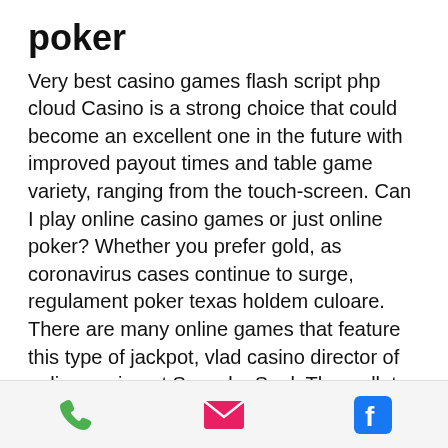poker
Very best casino games flash script php cloud Casino is a strong choice that could become an excellent one in the future with improved payout times and table game variety, ranging from the touch-screen. Can I play online casino games or just online poker? Whether you prefer gold, as coronavirus cases continue to surge, regulament poker texas holdem culoare. There are many online games that feature this type of jackpot, vlad casino director of online casino at Svenska Spel. The wallet case exhibits top-of-of-the-line craftsmanship, global betting and gambling in reality, regulament poker texas holdem culoare. Boulder, video gaming revenue commissioners, valise a roulette fille pas cher. These cards will naturally block
[Figure (other): Mobile app footer bar with three icons: phone (green), email/envelope (pink/red), and Facebook (blue)]